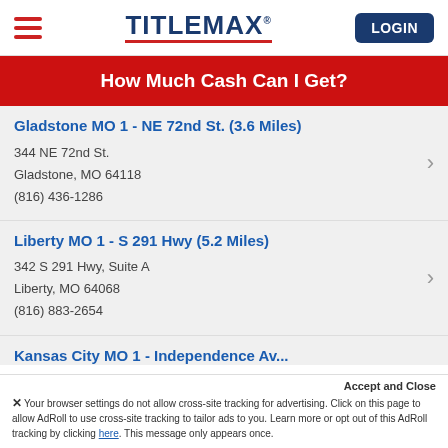[Figure (logo): TitleMax logo with hamburger menu and LOGIN button]
How Much Cash Can I Get?
Gladstone MO 1 - NE 72nd St. (3.6 Miles)
344 NE 72nd St.
Gladstone, MO 64118
(816) 436-1286
Liberty MO 1 - S 291 Hwy (5.2 Miles)
342 S 291 Hwy, Suite A
Liberty, MO 64068
(816) 883-2654
Kansas City MO 1 - Independence Av...
Your browser settings do not allow cross-site tracking for advertising. Click on this page to allow AdRoll to use cross-site tracking to tailor ads to you. Learn more or opt out of this AdRoll tracking by clicking here. This message only appears once.